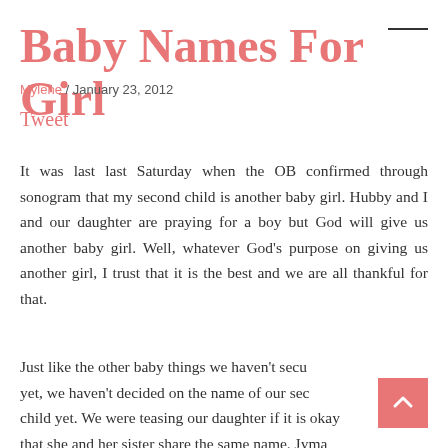Baby Names For Girl
Mylene / January 23, 2012
Tweet
It was last last Saturday when the OB confirmed through sonogram that my second child is another baby girl. Hubby and I and our daughter are praying for a boy but God will give us another baby girl. Well, whatever God’s purpose on giving us another girl, I trust that it is the best and we are all thankful for that.
Just like the other baby things we haven't secu yet, we haven't decided on the name of our sec child yet. We were teasing our daughter if it is okay that she and her sister share the same name. Jyma